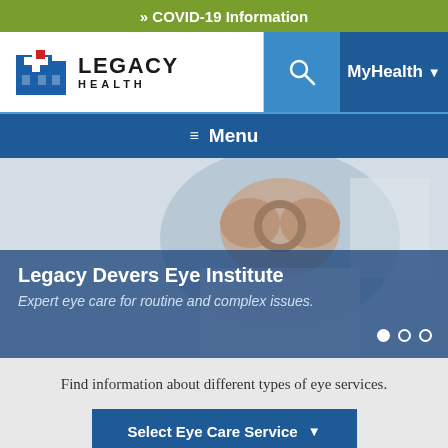» COVID-19 Information
[Figure (logo): Legacy Health logo with blue building icon and red square accent]
MyHealth ▼
≡ Menu
[Figure (photo): Person making a heart shape with their hands around their eyes, hero image for Legacy Devers Eye Institute]
Legacy Devers Eye Institute
Expert eye care for routine and complex issues.
Find information about different types of eye services.
Select Eye Care Service ▼